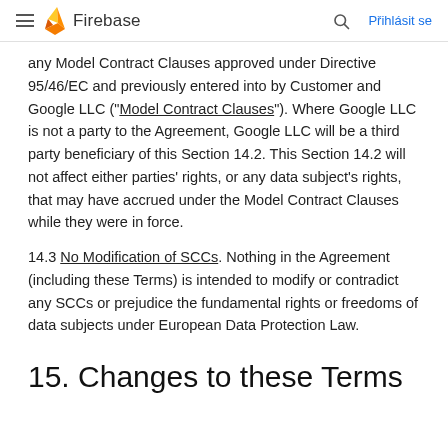Firebase — Přihlásit se
any Model Contract Clauses approved under Directive 95/46/EC and previously entered into by Customer and Google LLC ("Model Contract Clauses"). Where Google LLC is not a party to the Agreement, Google LLC will be a third party beneficiary of this Section 14.2. This Section 14.2 will not affect either parties' rights, or any data subject's rights, that may have accrued under the Model Contract Clauses while they were in force.
14.3 No Modification of SCCs. Nothing in the Agreement (including these Terms) is intended to modify or contradict any SCCs or prejudice the fundamental rights or freedoms of data subjects under European Data Protection Law.
15. Changes to these Terms